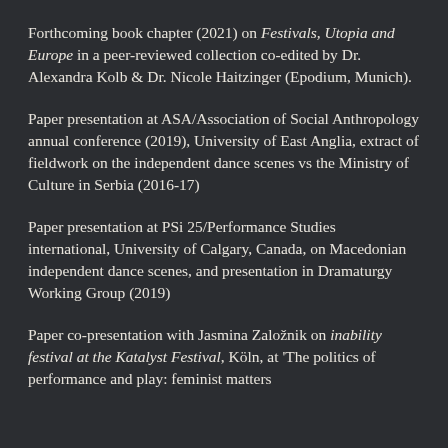Forthcoming book chapter (2021) on Festivals, Utopia and Europe in a peer-reviewed collection co-edited by Dr. Alexandra Kolb & Dr. Nicole Haitzinger (Epodium, Munich).
Paper presentation at ASA/Association of Social Anthropology annual conference (2019), University of East Anglia, extract of fieldwork on the independent dance scenes vs the Ministry of Culture in Serbia (2016-17)
Paper presentation at PSi 25/Performance Studies international, University of Calgary, Canada, on Macedonian independent dance scenes, and presentation in Dramaturgy Working Group (2019)
Paper co-presentation with Jasmina Založnik on inability festival at the Katalyst Festival, Köln, at 'The politics of performance and play: feminist matters